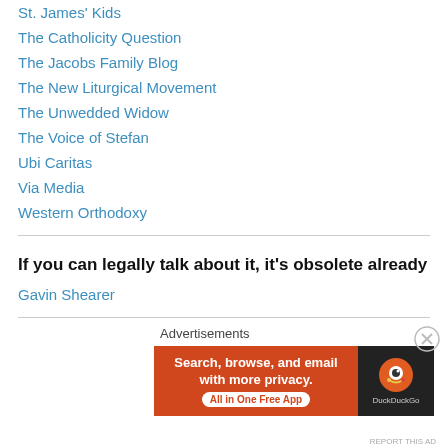St. James' Kids
The Catholicity Question
The Jacobs Family Blog
The New Liturgical Movement
The Unwedded Widow
The Voice of Stefan
Ubi Caritas
Via Media
Western Orthodoxy
If you can legally talk about it, it's obsolete already
Gavin Shearer
Advertisements
[Figure (screenshot): DuckDuckGo advertisement banner: orange background with text 'Search, browse, and email with more privacy. All in One Free App' and DuckDuckGo logo on dark background]